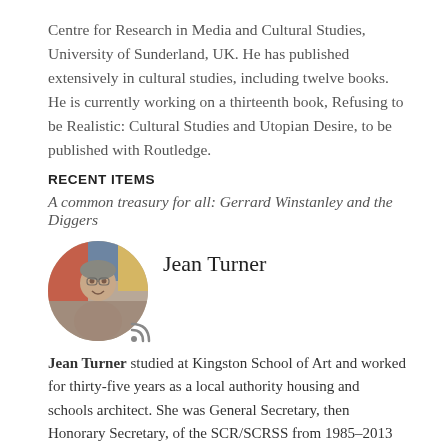Centre for Research in Media and Cultural Studies, University of Sunderland, UK. He has published extensively in cultural studies, including twelve books. He is currently working on a thirteenth book, Refusing to be Realistic: Cultural Studies and Utopian Desire, to be published with Routledge.
RECENT ITEMS
A common treasury for all: Gerrard Winstanley and the Diggers
Jean Turner
[Figure (photo): Circular profile photo of Jean Turner, an elderly woman, with colorful artwork in the background. Photo credit: Vaughan Melzer.]
Jean Turner studied at Kingston School of Art and worked for thirty-five years as a local authority housing and schools architect. She was General Secretary, then Honorary Secretary, of the SCR/SCRSS from 1985–2013 and is currently Honorary Treasurer.
Pic: Vaughan Melzer
RECENT ITEMS